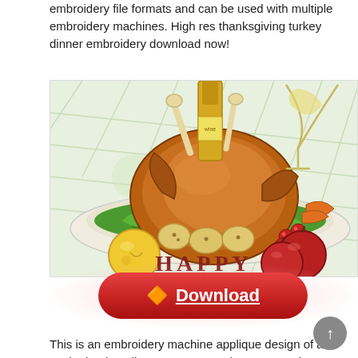embroidery file formats and can be used with multiple embroidery machines. High res thanksgiving turkey dinner embroidery download now!
[Figure (illustration): Illustration of a cooked thanksgiving turkey dinner on a platter with garnishes, vegetables, fruit, wine glass, and the word HAPPY in brown text at the bottom.]
Download (button)
This is an embroidery machine applique design of a cooked turkey dinner. 4.39 x 4.66 | 3.66 x 3.89 | 3.13 x 3.33 | 2.58 x 2.75.